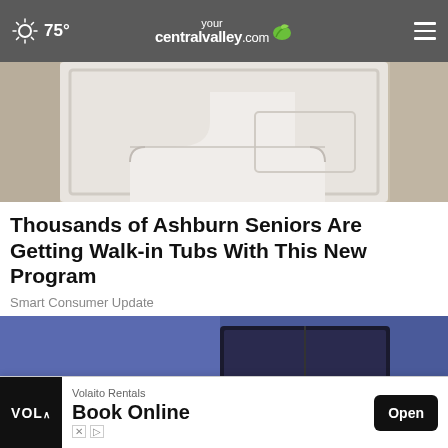75° yourcentralvalley.com
[Figure (photo): Partial view of a walk-in tub door with a curved entry step and recessed panel, beige/stone background]
Thousands of Ashburn Seniors Are Getting Walk-in Tubs With This New Program
Smart Consumer Update
[Figure (illustration): Cartoon illustration of a young man lying in bed smiling, with a dark blue bedroom background, TV on wall, clock showing 01:37, and a plant on the nightstand]
Volaito Rentals Book Online Open